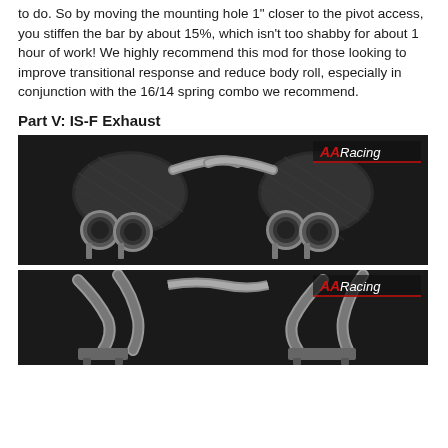to do. So by moving the mounting hole 1" closer to the pivot access, you stiffen the bar by about 15%, which isn't too shabby for about 1 hour of work! We highly recommend this mod for those looking to improve transitional response and reduce body roll, especially in conjunction with the 16/14 spring combo we recommend.
Part V: IS-F Exhaust
[Figure (photo): Photo of IS-F exhaust system showing dual exhaust tips on each side (two muffler sections) against dark background, with AA Racing logo in top right corner.]
[Figure (photo): Second photo of IS-F exhaust system showing internal piping and connections against dark background, with AA Racing logo in top right corner.]